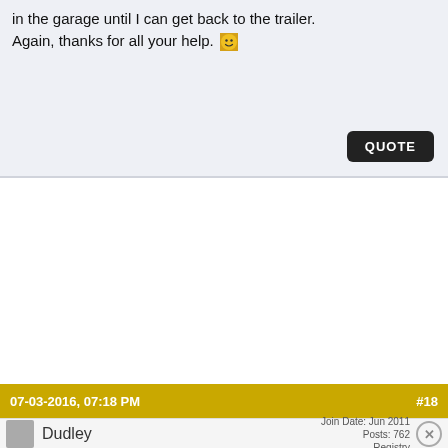in the garage until I can get back to the trailer. Again, thanks for all your help. 🙂
QUOTE
07-03-2016, 07:18 PM    #18
Dudley   Join Date: Jun 2011  Posts: 762  Registry